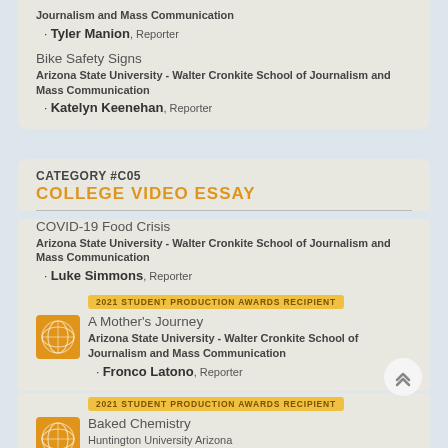Journalism and Mass Communication
Tyler Manion, Reporter
Bike Safety Signs
Arizona State University - Walter Cronkite School of Journalism and Mass Communication
Katelyn Keenehan, Reporter
CATEGORY #C05
COLLEGE VIDEO ESSAY
COVID-19 Food Crisis
Arizona State University - Walter Cronkite School of Journalism and Mass Communication
Luke Simmons, Reporter
2021 STUDENT PRODUCTION AWARDS RECIPIENT
A Mother's Journey
Arizona State University - Walter Cronkite School of Journalism and Mass Communication
Fronco Latono, Reporter
2021 STUDENT PRODUCTION AWARDS RECIPIENT
Baked Chemistry
Huntington University Arizona
Olivya Bryant, Photojournalist